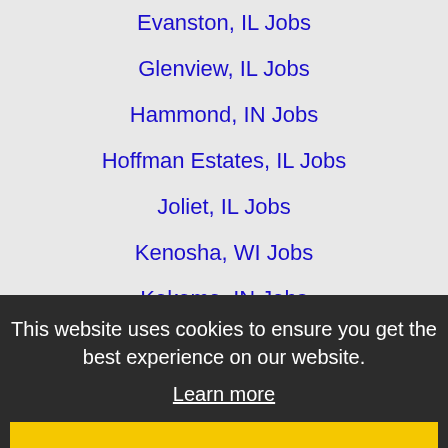Evanston, IL Jobs
Glenview, IL Jobs
Hammond, IN Jobs
Hoffman Estates, IL Jobs
Joliet, IL Jobs
Kenosha, WI Jobs
Kokomo, IN Jobs
Lafayette, IN Jobs
Lombard, IL Jobs
Mishawaka, IN Jobs
Mount Prospect, IL Jobs
Naperville, IL Jobs
Oak Lawn, IL Jobs
Oak Park, IL Jobs
Orland Park, IL Jobs
Palatine, IL Jobs
Portage, MI Jobs
Racine, WI Jobs
This website uses cookies to ensure you get the best experience on our website. Learn more Got it!